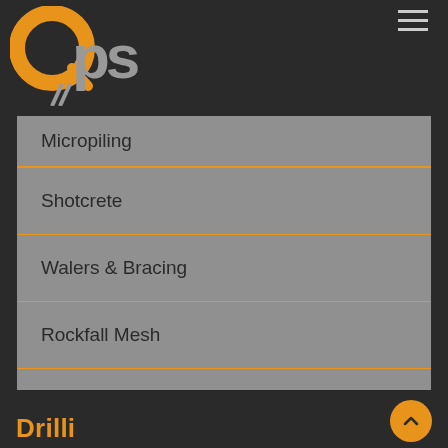[Figure (logo): QPS company logo with orange Q and grey 'ps' text, with diagonal striped paint brush icon below]
Micropiling
Shotcrete
Walers & Bracing
Rockfall Mesh
Grouting
Drilli...